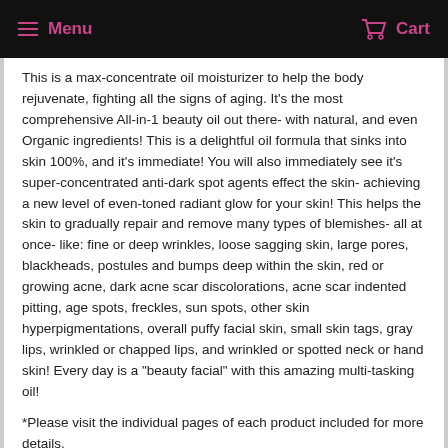Menu   Cart
This is a max-concentrate oil moisturizer to help the body rejuvenate, fighting all the signs of aging. It's the most comprehensive All-in-1 beauty oil out there- with natural, and even Organic ingredients! This is a delightful oil formula that sinks into skin 100%, and it's immediate! You will also immediately see it's super-concentrated anti-dark spot agents effect the skin- achieving a new level of even-toned radiant glow for your skin! This helps the skin to gradually repair and remove many types of blemishes- all at once- like: fine or deep wrinkles, loose sagging skin, large pores, blackheads, postules and bumps deep within the skin, red or growing acne, dark acne scar discolorations, acne scar indented pitting, age spots, freckles, sun spots, other skin hyperpigmentations, overall puffy facial skin, small skin tags, gray lips, wrinkled or chapped lips, and wrinkled or spotted neck or hand skin! Every day is a "beauty facial" with this amazing multi-tasking oil!
*Please visit the individual pages of each product included for more details.
NOTICE:
Prices subject to change with inflation (so stock up now)!
This natural kit product's statements and this product have not been